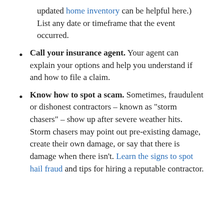updated home inventory can be helpful here.) List any date or timeframe that the event occurred.
Call your insurance agent. Your agent can explain your options and help you understand if and how to file a claim.
Know how to spot a scam. Sometimes, fraudulent or dishonest contractors – known as “storm chasers” – show up after severe weather hits. Storm chasers may point out pre-existing damage, create their own damage, or say that there is damage when there isn’t. Learn the signs to spot hail fraud and tips for hiring a reputable contractor.